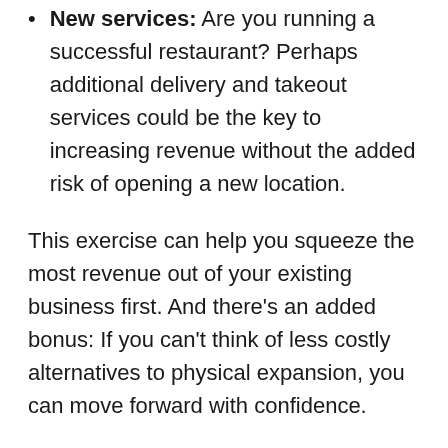New services: Are you running a successful restaurant? Perhaps additional delivery and takeout services could be the key to increasing revenue without the added risk of opening a new location.
This exercise can help you squeeze the most revenue out of your existing business first. And there's an added bonus: If you can't think of less costly alternatives to physical expansion, you can move forward with confidence.
Choose your location wisely.